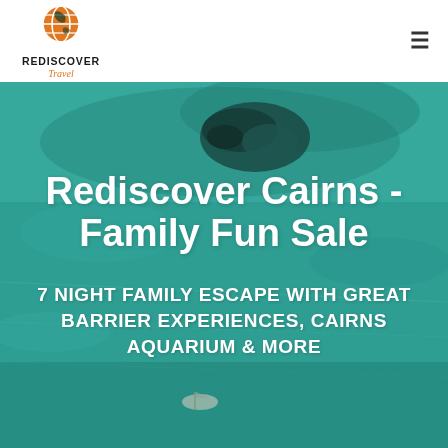[Figure (logo): Rediscover Travel logo: orange globe icon above text REDISCOVER in black caps, Travel in orange cursive below]
[Figure (photo): Aerial view of teal/turquoise ocean water with a coral reef island visible and a small boat near bottom centre]
Rediscover Cairns - Family Fun Sale
7 NIGHT FAMILY ESCAPE WITH GREAT BARRIER EXPERIENCES, CAIRNS AQUARIUM & MORE